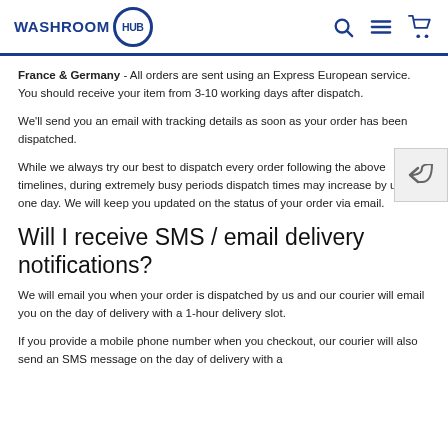WASHROOM HUB
France & Germany - All orders are sent using an Express European service. You should receive your item from 3-10 working days after dispatch.
We'll send you an email with tracking details as soon as your order has been dispatched.
While we always try our best to dispatch every order following the above timelines, during extremely busy periods dispatch times may increase by up to one day. We will keep you updated on the status of your order via email.
Will I receive SMS / email delivery notifications?
We will email you when your order is dispatched by us and our courier will email you on the day of delivery with a 1-hour delivery slot.
If you provide a mobile phone number when you checkout, our courier will also send an SMS message on the day of delivery with a